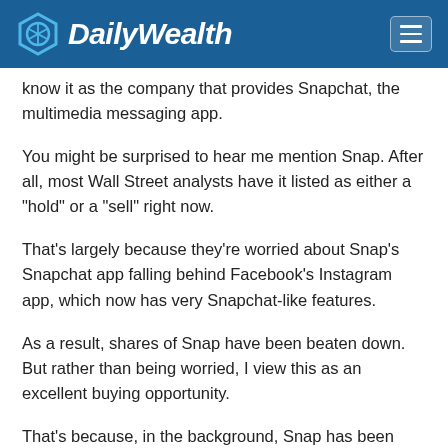DailyWealth
know it as the company that provides Snapchat, the multimedia messaging app.
You might be surprised to hear me mention Snap. After all, most Wall Street analysts have it listed as either a "hold" or a "sell" right now.
That's largely because they're worried about Snap's Snapchat app falling behind Facebook's Instagram app, which now has very Snapchat-like features.
As a result, shares of Snap have been beaten down. But rather than being worried, I view this as an excellent buying opportunity.
That's because, in the background, Snap has been developing 3D-sensing and AR applications. You get